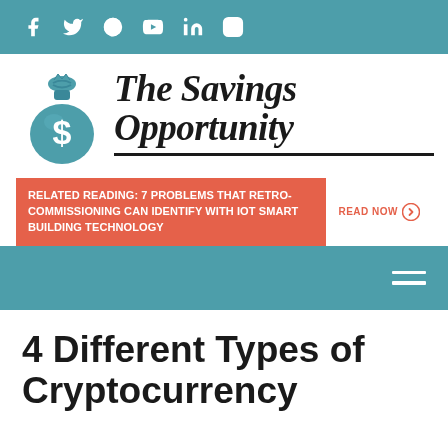Social media icons: Facebook, Twitter, Pinterest, YouTube, LinkedIn, Instagram
[Figure (logo): The Savings Opportunity logo with teal money bag icon and script text]
RELATED READING: 7 Problems that Retro-Commissioning can Identify with IoT Smart Building Technology
READ NOW
4 Different Types of Cryptocurrency